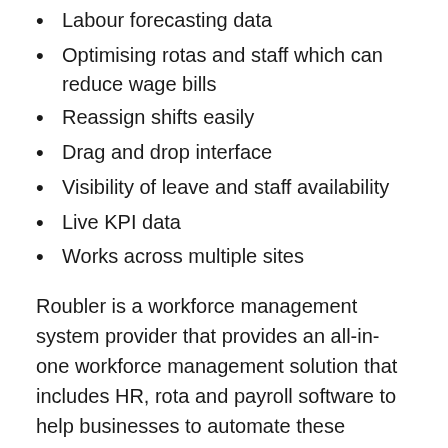Labour forecasting data
Optimising rotas and staff which can reduce wage bills
Reassign shifts easily
Drag and drop interface
Visibility of leave and staff availability
Live KPI data
Works across multiple sites
Roubler is a workforce management system provider that provides an all-in-one workforce management solution that includes HR, rota and payroll software to help businesses to automate these functions on a single platform. All of their plans include rota scheduling software as standard which can handle multiple sites.
Roubler uses for multi...